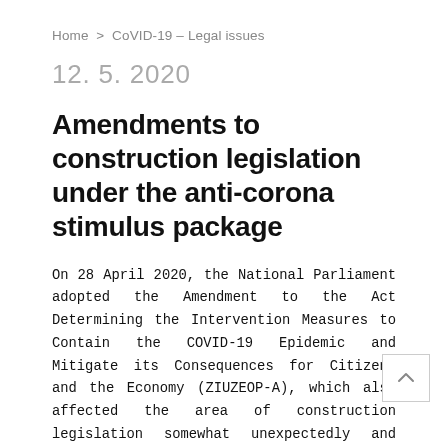Home > CoVID-19 – Legal issues
12. 5. 2020
Amendments to construction legislation under the anti-corona stimulus package
On 28 April 2020, the National Parliament adopted the Amendment to the Act Determining the Intervention Measures to Contain the COVID-19 Epidemic and Mitigate its Consequences for Citizens and the Economy (ZIUZEOP-A), which also affected the area of construction legislation somewhat unexpectedly and controversially. The law came into force on Friday, 1 May 2020.
The new provisions related to construction